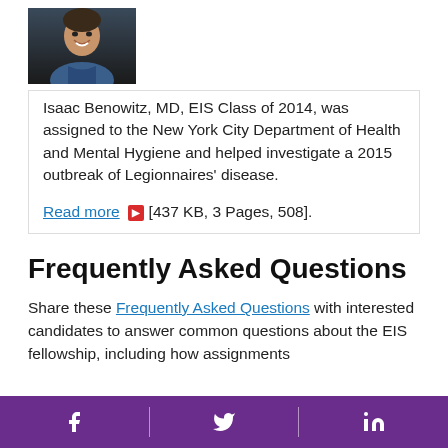[Figure (photo): Headshot photo of Isaac Benowitz, MD — young man smiling, wearing blue shirt, dark background]
Isaac Benowitz, MD, EIS Class of 2014, was assigned to the New York City Department of Health and Mental Hygiene and helped investigate a 2015 outbreak of Legionnaires' disease.
Read more  [437 KB, 3 Pages, 508].
Frequently Asked Questions
Share these Frequently Asked Questions with interested candidates to answer common questions about the EIS fellowship, including how assignments
Facebook | Twitter | LinkedIn